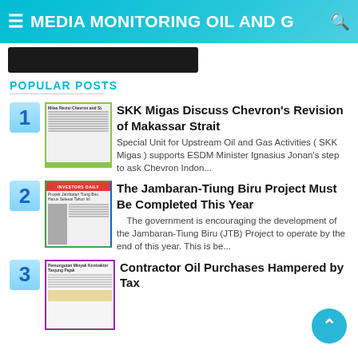≡ MEDIA MONITORING OIL AND G 🔍
POPULAR POSTS
1 SKK Migas Discuss Chevron's Revision of Makassar Strait — Special Unit for Upstream Oil and Gas Activities ( SKK Migas ) supports ESDM Minister Ignasius Jonan's step to ask Chevron Indon...
2 The Jambaran-Tiung Biru Project Must Be Completed This Year — The government is encouraging the development of the Jambaran-Tiung Biru (JTB) Project to operate by the end of this year. This is be...
3 Contractor Oil Purchases Hampered by Tax